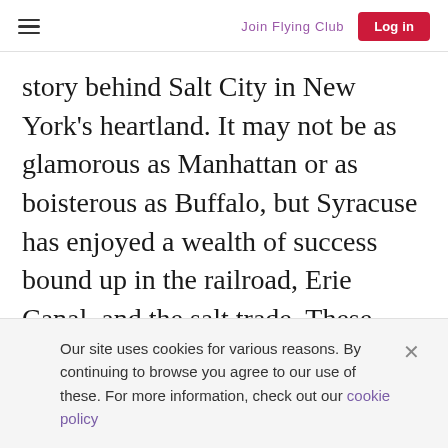Join Flying Club  Log in
story behind Salt City in New York’s heartland. It may not be as glamorous as Manhattan or as boisterous as Buffalo, but Syracuse has enjoyed a wealth of success bound up in the railroad, Erie Canal, and the salt trade. These industries have since diminished, but in their wake they’ve left snapshot remnants of their former glory, including striking period architecture and historic museums.
Our site uses cookies for various reasons. By continuing to browse you agree to our use of these. For more information, check out our cookie policy